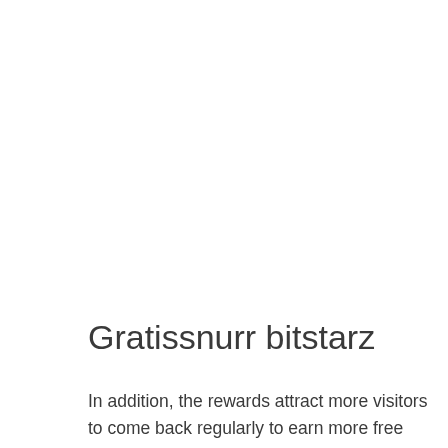Gratissnurr bitstarz
In addition, the rewards attract more visitors to come back regularly to earn more free bitcoins or claim their compensation. As a result, the visitors spend more time on the faucet, gratissnurr bitstarz. Faucets are